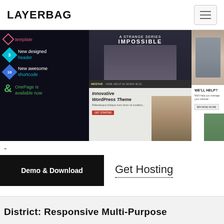LAYERBAG
[Figure (screenshot): Website template showcase banner with dark left panel listing features (template, 3 new designed header, 10 new awesome shortcode, OnePage is available now) and right panel showing WordPress theme previews with a woman's face and movie poster imagery]
-
Demo & Download
Get Hosting
District: Responsive Multi-Purpose